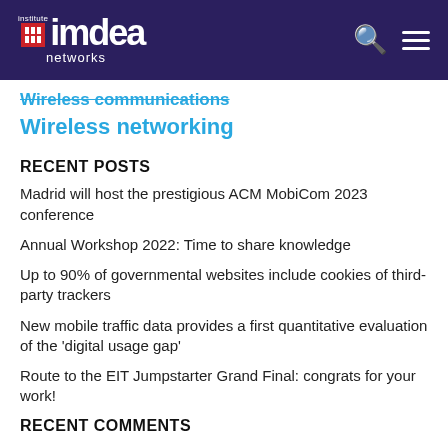IMDEA Networks Institute
Wireless communications
Wireless networking
RECENT POSTS
Madrid will host the prestigious ACM MobiCom 2023 conference
Annual Workshop 2022: Time to share knowledge
Up to 90% of governmental websites include cookies of third-party trackers
New mobile traffic data provides a first quantitative evaluation of the 'digital usage gap'
Route to the EIT Jumpstarter Grand Final: congrats for your work!
RECENT COMMENTS